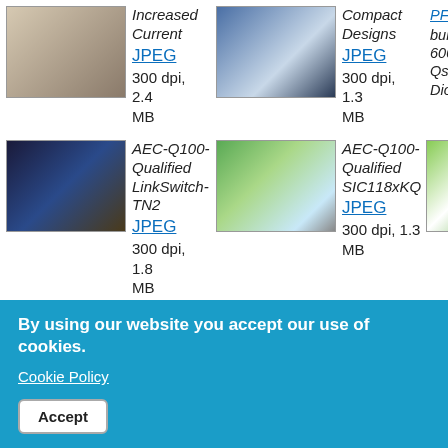[Figure (photo): Product image - appliances with chip]
Increased Current
JPEG
300 dpi, 2.4 MB
[Figure (photo): Building with chip overlay]
Compact Designs
JPEG
300 dpi, 1.3 MB
PFS4 with built-in 600 V Qspeed Diode
[Figure (photo): Circuit board with chip on dark background]
AEC-Q100-Qualified LinkSwitch-TN2
JPEG
300 dpi, 1.8 MB
[Figure (photo): Electric vehicle with chip]
AEC-Q100-Qualified SIC118xKQ
JPEG
300 dpi, 1.3 MB
[Figure (photo): Eco/wind energy with chip]
[Figure (photo): Power tower with chip]
2SP0430
JPEG
300 dpi, 2.7 MB
[Figure (photo): Green plug and power lines with chip]
750 V PowiGaN InnoSwitch
JPEG
300 dpi, 1.5 MB
[Figure (photo): Smart home display with chip]
By using our website you accept our use of cookies.
Cookie Policy
Accept